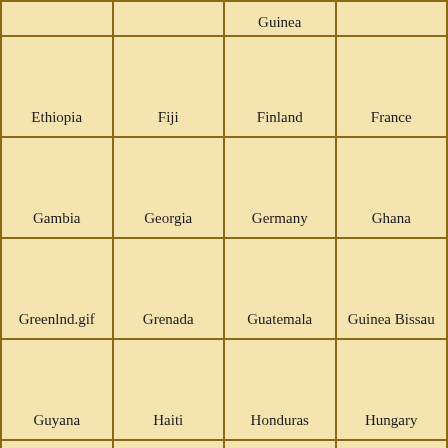|  |  | Guinea |  |
| Ethiopia | Fiji | Finland | France |
| Gambia | Georgia | Germany | Ghana |
| Greenlnd.gif | Grenada | Guatemala | Guinea Bissau |
| Guyana | Haiti | Honduras | Hungary |
|  |  |  |  |